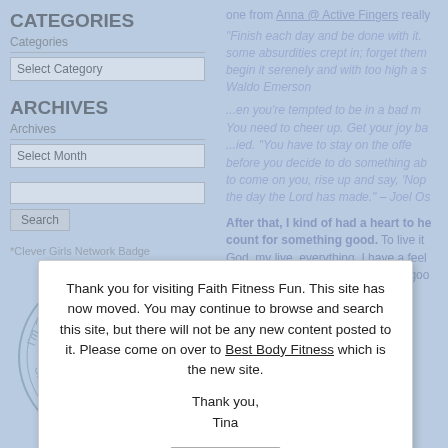CATEGORIES
Categories
Select Category
ARCHIVES
Archives
Select Month
Search
*Clever Girls Network Badge
[Figure (logo): Love Grown Foods circular stamp logo with text 'I'm a LOVE blogger! LOVE GROWN FOODS SPREAD THE LOVE']
one from Anna @ Active Fingers really
"Finish each day and be done with it. some absurdities crept in; forget them begin it serenely and with too high a s
Waldo Emerson
...en you're tempted to be in a bad m You need to cheer up. Get your joy ba ...ied. "You have to stay on the offe before you decide to do something ab to come on you, rise up and say, 'Nop the day the Lord has made." – Joel Os
After that, I kind of had a heart to he count for something good. To live it God, my live, everything. I have a feel worth the fight. I filled my day with goo
Thank you for visiting Faith Fitness Fun. This site has now moved. You may continue to browse and search this site, but there will not be any new content posted to it. Please come on over to Best Body Fitness which is the new site.

Thank you,
Tina

Ok